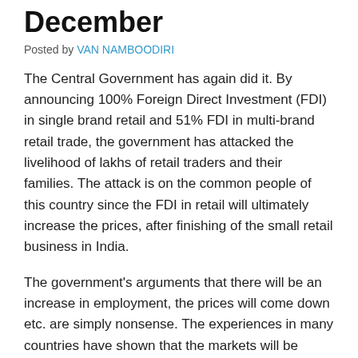December
Posted by VAN NAMBOODIRI
The Central Government has again did it. By announcing 100% Foreign Direct Investment (FDI) in single brand retail and 51% FDI in multi-brand retail trade, the government has attacked the livelihood of lakhs of retail traders and their families. The attack is on the common people of this country since the FDI in retail will ultimately increase the prices, after finishing of the small retail business in India.
The government's arguments that there will be an increase in employment, the prices will come down etc. are simply nonsense. The experiences in many countries have shown that the markets will be completely captured by the MNCs and the entire local traders will be ousted, who can not